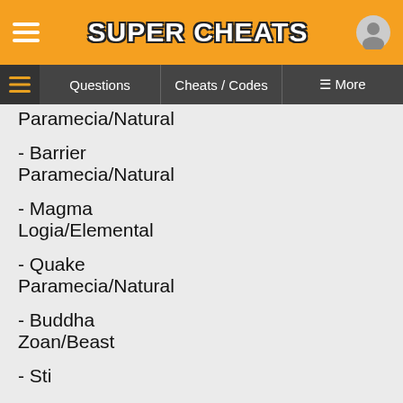SUPER CHEATS
Questions | Cheats / Codes | More
Paramecia/Natural
- Barrier
Paramecia/Natural
- Magma
Logia/Elemental
- Quake
Paramecia/Natural
- Buddha
Zoan/Beast
- Sti...